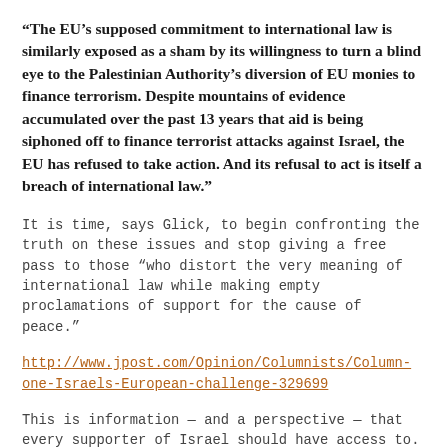“The EU’s supposed commitment to international law is similarly exposed as a sham by its willingness to turn a blind eye to the Palestinian Authority’s diversion of EU monies to finance terrorism. Despite mountains of evidence accumulated over the past 13 years that aid is being siphoned off to finance terrorist attacks against Israel, the EU has refused to take action. And its refusal to act is itself a breach of international law.”
It is time, says Glick, to begin confronting the truth on these issues and stop giving a free pass to those “who distort the very meaning of international law while making empty proclamations of support for the cause of peace.”
http://www.jpost.com/Opinion/Columnists/Column-one-Israels-European-challenge-329699
This is information — and a perspective — that every supporter of Israel should have access to.